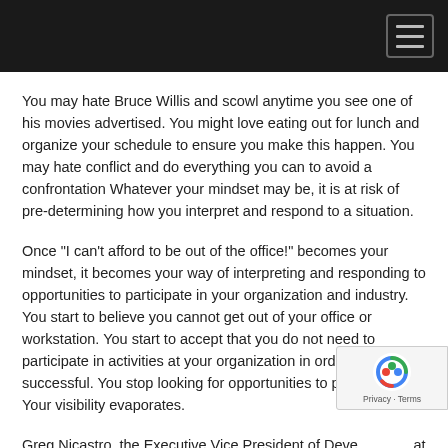[navigation bar with hamburger menu]
You may hate Bruce Willis and scowl anytime you see one of his movies advertised. You might love eating out for lunch and organize your schedule to ensure you make this happen. You may hate conflict and do everything you can to avoid a confrontation Whatever your mindset may be, it is at risk of pre-determining how you interpret and respond to a situation.
Once "I can't afford to be out of the office!" becomes your mindset, it becomes your way of interpreting and responding to opportunities to participate in your organization and industry. You start to believe you cannot get out of your office or workstation. You start to accept that you do not need to participate in activities at your organization in order to be successful. You stop looking for opportunities to participate. Your visibility evaporates.
Greg Nicastro, the Executive Vice President of Deve... at Veracode, a leading cloud-based provider of appli... security, speaks passionately about the mindset of